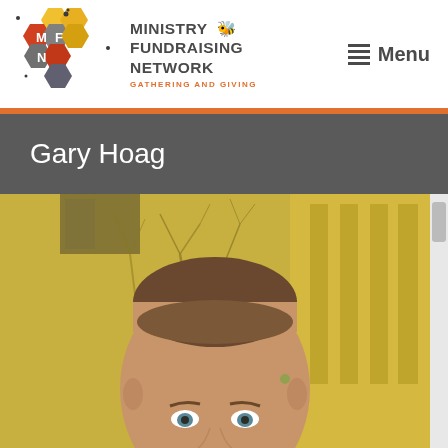[Figure (logo): Ministry Fundraising Network logo with hexagon honeycomb graphic, bees, and tagline 'GATHERING AND GIVING']
Gary Hoag
[Figure (photo): Photo of Gary Hoag, a middle-aged man with short brown hair and light eyes, photographed outdoors in front of a building with bare winter trees in the background, warm golden/yellow tones]